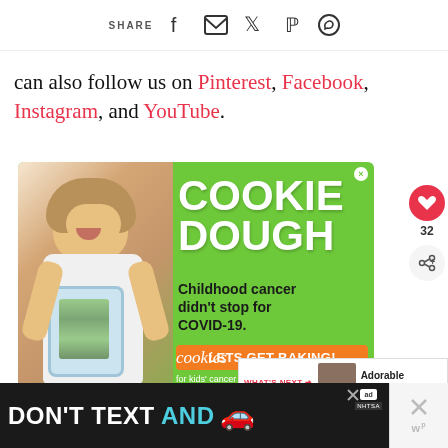SHARE [social icons: Facebook, Email, Twitter, Pinterest, WhatsApp]
can also follow us on Pinterest, Facebook, Instagram, and YouTube.
[Figure (photo): Advertisement for Cookies for Kids Cancer: Green background with a smiling girl holding a jar of money. Text reads COOKIE DOUGH, Childhood cancer didn't stop for COVID-19. LETS GET BAKING! cookies for kids cancer.]
[Figure (infographic): Bottom banner ad: dark background with text DON'T TEXT AND [car emoji], ad logo, NHTSA branding. Close button at right.]